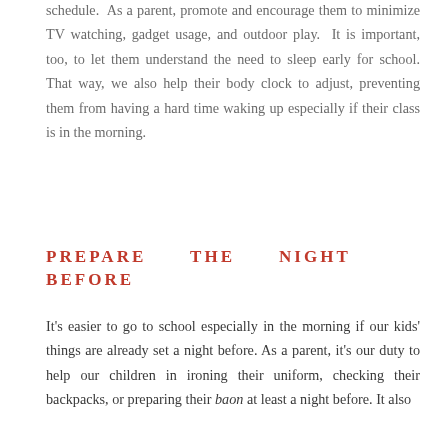schedule. As a parent, promote and encourage them to minimize TV watching, gadget usage, and outdoor play. It is important, too, to let them understand the need to sleep early for school. That way, we also help their body clock to adjust, preventing them from having a hard time waking up especially if their class is in the morning.
PREPARE THE NIGHT BEFORE
It's easier to go to school especially in the morning if our kids' things are already set a night before. As a parent, it's our duty to help our children in ironing their uniform, checking their backpacks, or preparing their baon at least a night before. It also